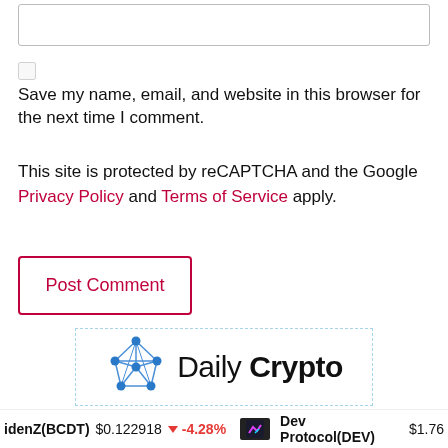[input box]
Save my name, email, and website in this browser for the next time I comment.
This site is protected by reCAPTCHA and the Google Privacy Policy and Terms of Service apply.
Post Comment
[Figure (logo): Daily Crypto logo with blue network/star icon and text 'Daily Crypto' inside a dashed light-blue border box]
idenZ(BCDT) $0.122918 ↓ -4.28%   Dev Protocol(DEV) $1.76